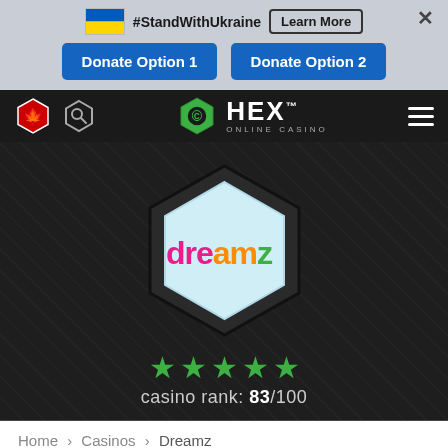[Figure (screenshot): Ukraine flag icon (blue and yellow horizontal stripes)]
#StandWithUkraine
Learn More
×
Donate Option 1
Donate Option 2
[Figure (logo): HEX Online Casino logo with green hexagon coin icon and white HEX text with ONLINE CASINO below]
[Figure (logo): Dreamz Casino logo inside a dark hexagon shape with light blue inner hexagon. Colorful dreamz text in pink and green.]
[Figure (other): 5 green star rating icons]
casino rank: 83/100
Home › Casinos › Dreamz
DREAMZ ONLINE CASINO